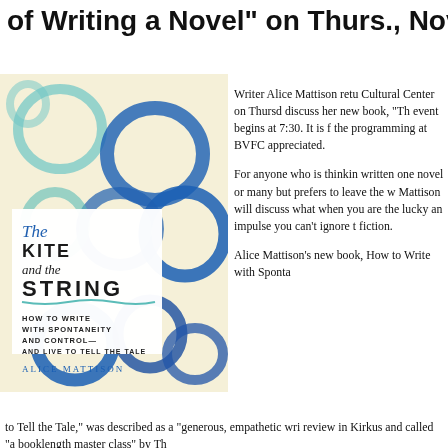of Writing a Novel" on Thurs., Nov.
[Figure (photo): Book cover of 'The Kite and the String: How to Write with Spontaneity and Control—And Live to Tell the Tale' by Alice Mattison, featuring blue abstract kite/string illustrations on a cream background]
Writer Alice Mattison returns to the Cultural Center on Thursday to discuss her new book, "The event begins at 7:30. It is f the programming at BVFC appreciated.
For anyone who is thinking, written one novel or many, but prefers to leave the w Mattison will discuss what when you are the lucky an impulse you can't ignore t fiction.
Alice Mattison's new book, How to Write with Sponta
to Tell the Tale," was described as a "generous, empathetic wri review in Kirkus and called "a booklength master class" by Th